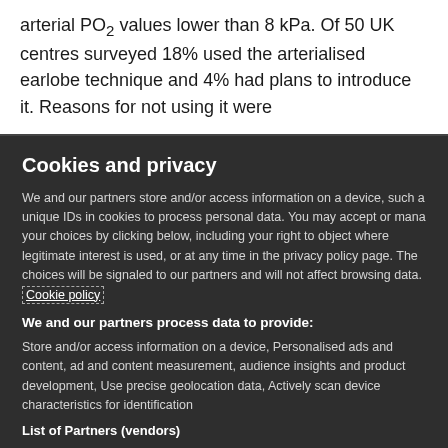arterial PO2 values lower than 8 kPa. Of 50 UK centres surveyed 18% used the arterialised earlobe technique and 4% had plans to introduce it. Reasons for not using it were
Cookies and privacy
We and our partners store and/or access information on a device, such as unique IDs in cookies to process personal data. You may accept or manage your choices by clicking below, including your right to object where legitimate interest is used, or at any time in the privacy policy page. These choices will be signaled to our partners and will not affect browsing data. Cookie policy
We and our partners process data to provide:
Store and/or access information on a device, Personalised ads and content, ad and content measurement, audience insights and product development, Use precise geolocation data, Actively scan device characteristics for identification
List of Partners (vendors)
I Accept